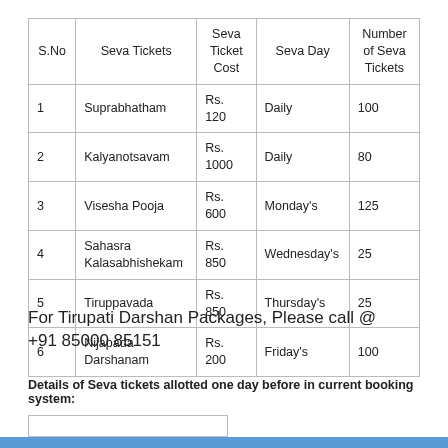| S.No | Seva Tickets | Seva Ticket Cost | Seva Day | Number of Seva Tickets |
| --- | --- | --- | --- | --- |
| 1 | Suprabhatham | Rs. 120 | Daily | 100 |
| 2 | Kalyanotsavam | Rs. 1000 | Daily | 80 |
| 3 | Visesha Pooja | Rs. 600 | Monday's | 125 |
| 4 | Sahasra Kalasabhishekam | Rs. 850 | Wednesday's | 25 |
| 5 | Tiruppavada | Rs. 850 | Thursday's | 25 |
| 6 | Nijapada Darshanam | Rs. 200 | Friday's | 100 |
For Tirupati Darshan Packages, Please call @ +91 85000 85151
Details of Seva tickets allotted one day before in current booking system: